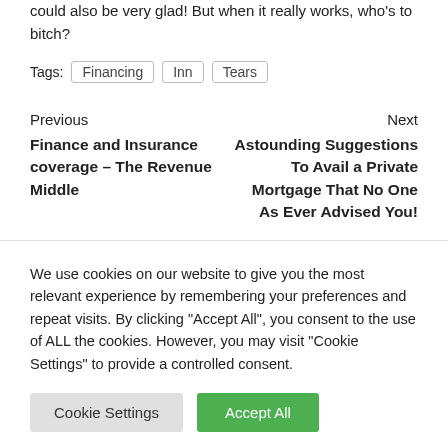could also be very glad! But when it really works, who’s to bitch?
Tags: Financing Inn Tears
Previous
Finance and Insurance coverage – The Revenue Middle
Next
Astounding Suggestions To Avail a Private Mortgage That No One As Ever Advised You!
We use cookies on our website to give you the most relevant experience by remembering your preferences and repeat visits. By clicking “Accept All”, you consent to the use of ALL the cookies. However, you may visit "Cookie Settings" to provide a controlled consent.